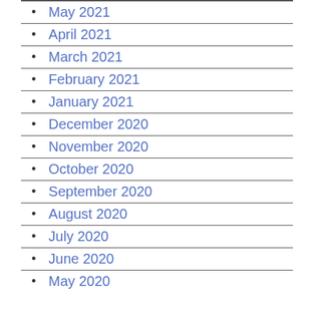May 2021
April 2021
March 2021
February 2021
January 2021
December 2020
November 2020
October 2020
September 2020
August 2020
July 2020
June 2020
May 2020